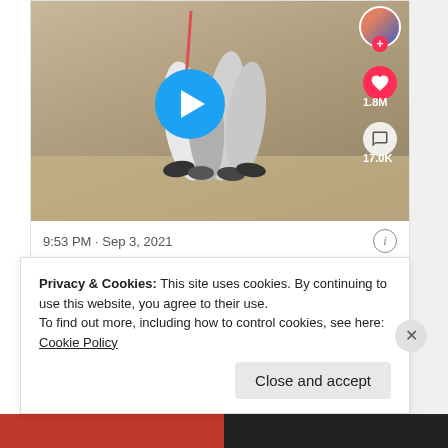[Figure (screenshot): TikTok video thumbnail showing a dog walking on a leash in a store, with a blue play button overlay. Right sidebar shows TikTok UI elements: user avatar with pink plus badge, pink heart icon with 1.8M likes, speech bubble icon with 17.0K comments.]
9:53 PM · Sep 3, 2021
♥ 8.8K   Reply   Copy link
Read 333 replies
Privacy & Cookies: This site uses cookies. By continuing to use this website, you agree to their use.
To find out more, including how to control cookies, see here: Cookie Policy
Close and accept